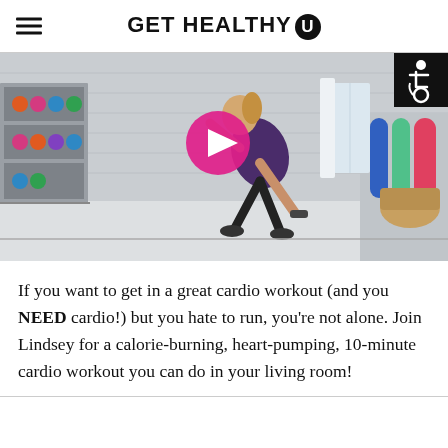GET HEALTHY U
[Figure (screenshot): Video thumbnail showing a woman doing a cardio exercise (dumbbell swing) in a gym room with fitness equipment. A pink circular play button is overlaid in the center. An accessibility icon (wheelchair symbol) is shown in a black box in the top-right corner.]
If you want to get in a great cardio workout (and you NEED cardio!) but you hate to run, you’re not alone. Join Lindsey for a calorie-burning, heart-pumping, 10-minute cardio workout you can do in your living room!